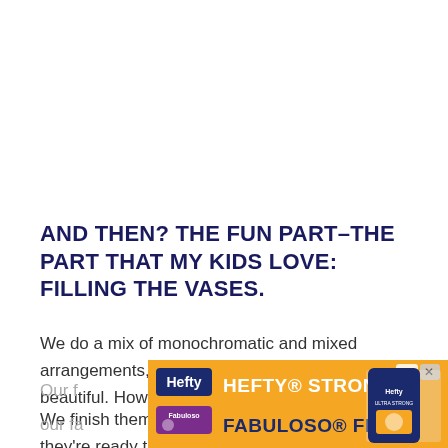AND THEN? THE FUN PART–THE PART THAT MY KIDS LOVE: FILLING THE VASES.
We do a mix of monochromatic and mixed arrangements, and really? They all look beautiful. How could they not?
We finish them off with a pretty ribbon, and they're ready to go.
Our f... ...ly on our fa... ...t as
[Figure (other): Hefty advertisement banner with orange background showing 'HEFTY STRONG, FABULOSO FRESH' tagline with product logos]